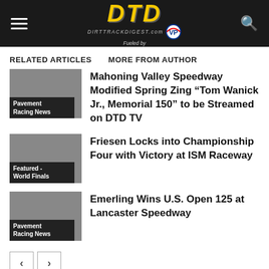DTD DIRTTRACKDIGEST.com Fueled by VP
RELATED ARTICLES
MORE FROM AUTHOR
Mahoning Valley Speedway Modified Spring Zing “Tom Wanick Jr., Memorial 150” to be Streamed on DTD TV
Pavement Racing News
Friesen Locks into Championship Four with Victory at ISM Raceway
Featured - World Finals
Emerling Wins U.S. Open 125 at Lancaster Speedway
Pavement Racing News